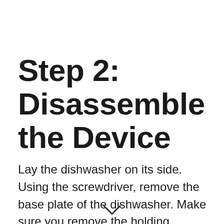Step 2: Disassemble the Device
Lay the dishwasher on its side. Using the screwdriver, remove the base plate of the dishwasher. Make sure you remove the holding screws